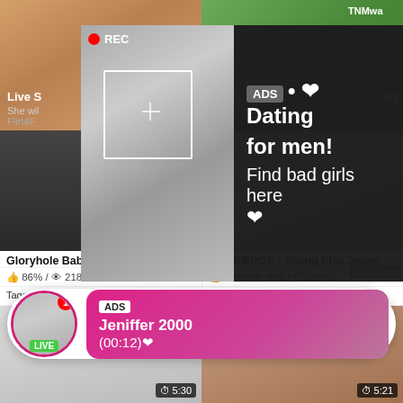[Figure (screenshot): Adult video thumbnail top left – skin tones]
[Figure (screenshot): Adult video thumbnail top right – outdoor green]
[Figure (screenshot): Live stream recording overlay with selfie photo and REC badge]
ADS • ❤ Dating for men! Find bad girls here ❤
[Figure (screenshot): Middle left adult video thumbnail, dark tones, 86% rating]
[Figure (screenshot): Middle right adult video thumbnail – blonde, duration 11:40, ElsaFuck watermark]
[Figure (infographic): Dating ad popup pill: ADS Jeniffer 2000 (00:12) with avatar and LIVE badge]
Gloryhole Babe Ass Plowed By
👍 86% / 👁 218 / ⏱ 6:15
Tags: ❤ anal ❤ cumshot ❤ hardcore
BANGBROS - Young Elsa Jeans
👍 85% / 👁 466 / ⏱ 11:40
Tags: ❤ pussy ❤ blonde ❤ babe
[Figure (screenshot): Bottom left video thumbnail, duration 5:30]
[Figure (screenshot): Bottom right video thumbnail, duration 5:21]